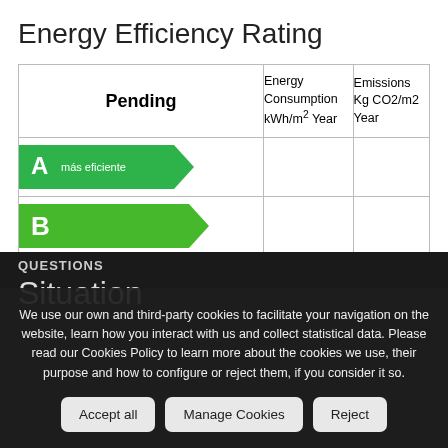Energy Efficiency Rating
| Pending | Energy Consumption kWh/m² Year | Emissions Kg CO2/m2 Year |
| --- | --- | --- |
| A más eficiente |  |  |
| B |  |  |
| C |  |  |
| D |  |  |
We use our own and third-party cookies to facilitate your navigation on the website, learn how you interact with us and collect statistical data. Please read our Cookies Policy to learn more about the cookies we use, their purpose and how to configure or reject them, if you consider it so.
QUESTIONS
Situation